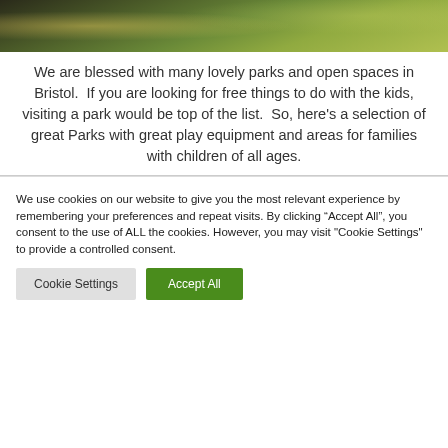[Figure (photo): Park scene with trees and sunlight filtering through, green grass visible]
We are blessed with many lovely parks and open spaces in Bristol.  If you are looking for free things to do with the kids, visiting a park would be top of the list.  So, here’s a selection of great Parks with great play equipment and areas for families with children of all ages.
We use cookies on our website to give you the most relevant experience by remembering your preferences and repeat visits. By clicking “Accept All”, you consent to the use of ALL the cookies. However, you may visit "Cookie Settings" to provide a controlled consent.